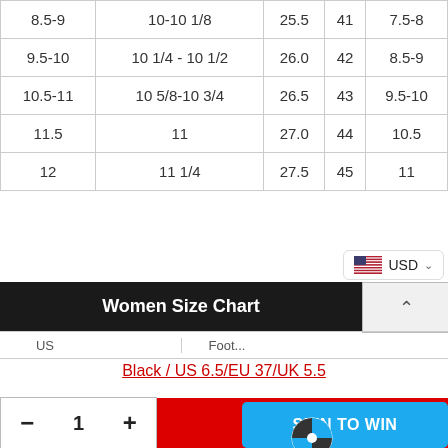| 8.5-9 | 10-10 1/8 | 25.5 | 41 | 7.5-8 |
| 9.5-10 | 10 1/4 - 10 1/2 | 26.0 | 42 | 8.5-9 |
| 10.5-11 | 10 5/8-10 3/4 | 26.5 | 43 | 9.5-10 |
| 11.5 | 11 | 27.0 | 44 | 10.5 |
| 12 | 11 1/4 | 27.5 | 45 | 11 |
Women Size Chart
Black / US 6.5/EU 37/UK 5.5
- 1 + ADD TO CART